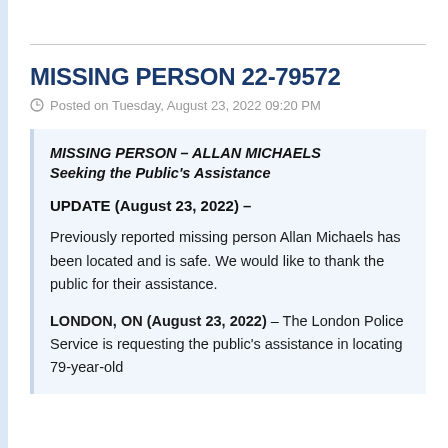MISSING PERSON 22-79572
Posted on Tuesday, August 23, 2022 09:20 PM
MISSING PERSON – ALLAN MICHAELS
Seeking the Public's Assistance
UPDATE (August 23, 2022) –
Previously reported missing person Allan Michaels has been located and is safe. We would like to thank the public for their assistance.
LONDON, ON (August 23, 2022) – The London Police Service is requesting the public's assistance in locating 79-year-old